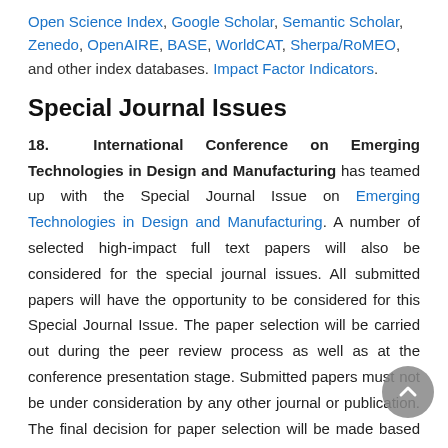Open Science Index, Google Scholar, Semantic Scholar, Zenedo, OpenAIRE, BASE, WorldCAT, Sherpa/RoMEO, and other index databases. Impact Factor Indicators.
Special Journal Issues
18. International Conference on Emerging Technologies in Design and Manufacturing has teamed up with the Special Journal Issue on Emerging Technologies in Design and Manufacturing. A number of selected high-impact full text papers will also be considered for the special journal issues. All submitted papers will have the opportunity to be considered for this Special Journal Issue. The paper selection will be carried out during the peer review process as well as at the conference presentation stage. Submitted papers must not be under consideration by any other journal or publication. The final decision for paper selection will be made based on peer review reports by the Guest